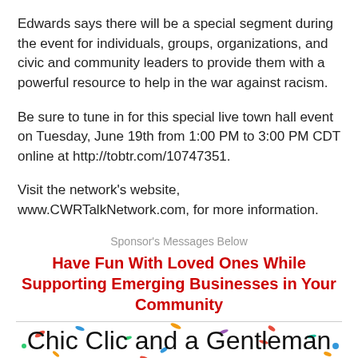Edwards says there will be a special segment during the event for individuals, groups, organizations, and civic and community leaders to provide them with a powerful resource to help in the war against racism.
Be sure to tune in for this special live town hall event on Tuesday, June 19th from 1:00 PM to 3:00 PM CDT online at http://tobtr.com/10747351.
Visit the network's website, www.CWRTalkNetwork.com, for more information.
Sponsor's Messages Below
Have Fun With Loved Ones While Supporting Emerging Businesses in Your Community
[Figure (logo): Chic Clic and a Gentleman logo with colorful confetti background and script lettering]